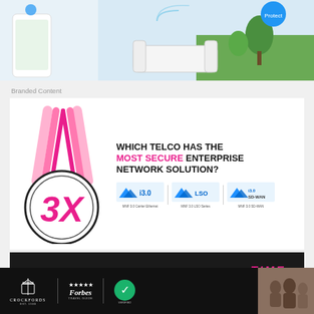[Figure (photo): Top banner showing a phone with app and a living room/garden scene]
Branded Content
[Figure (infographic): Advertisement for TIME telco enterprise network - medal with 3X and text 'WHICH TELCO HAS THE MOST SECURE ENTERPRISE NETWORK SOLUTION?' with three product logos: MNF 3.0 Carrier Ethernet, MNF 3.0 ALSO Series, MNF 3.0 SD-WAN]
TIME.COM.MY/3Cs
Is your network ready for digitalisation?
[Figure (logo): Bottom dark banner with Crockfords, Forbes, and Verified logos alongside a photo of people]